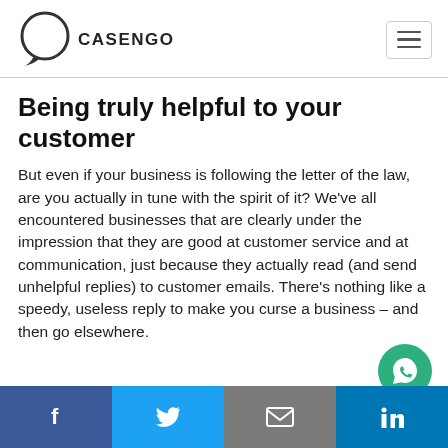[Figure (logo): Casengo logo with chat bubble icon and CASENGO text]
Being truly helpful to your customer
But even if your business is following the letter of the law, are you actually in tune with the spirit of it? We've all encountered businesses that are clearly under the impression that they are good at customer service and at communication, just because they actually read (and send unhelpful replies) to customer emails. There's nothing like a speedy, useless reply to make you curse a business – and then go elsewhere.
Social share bar: Facebook, Twitter, Email, LinkedIn